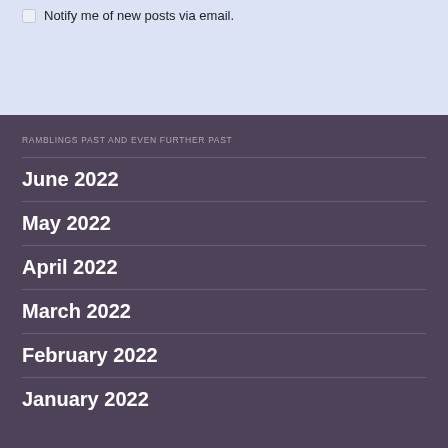Notify me of new posts via email.
RAMBLINGS PAST AND EVEN FURTHER PAST
June 2022
May 2022
April 2022
March 2022
February 2022
January 2022